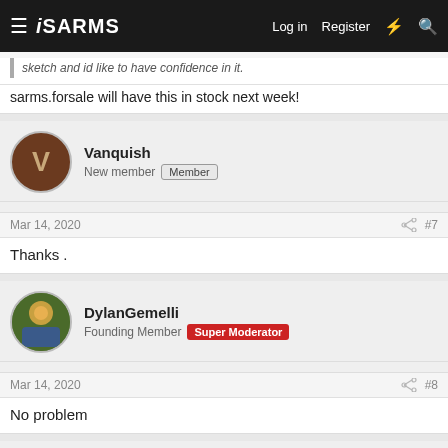iSARMS — Log in | Register
sketch and id like to have confidence in it.
sarms.forsale will have this in stock next week!
Vanquish
New member | Member
Mar 14, 2020  #7
Thanks .
DylanGemelli
Founding Member | Super Moderator
Mar 14, 2020  #8
No problem
SARMS4Sale